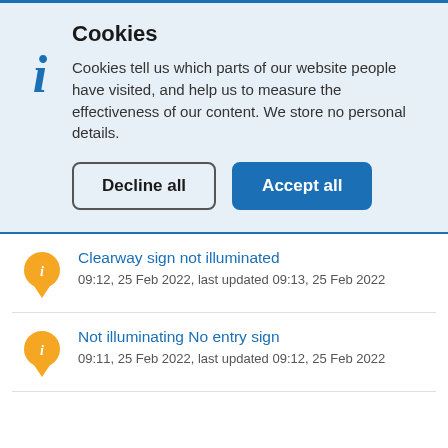Cookies
Cookies tell us which parts of our website people have visited, and help us to measure the effectiveness of our content. We store no personal details.
Decline all | Accept all
Clearway sign not illuminated
09:12, 25 Feb 2022, last updated 09:13, 25 Feb 2022
Not illuminating No entry sign
09:11, 25 Feb 2022, last updated 09:12, 25 Feb 2022